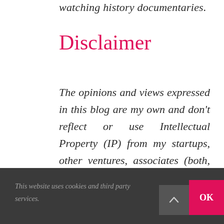watching history documentaries.
Disclaimer
The opinions and views expressed in this blog are my own and don't reflect or use Intellectual Property (IP) from my startups, other ventures, associates (both, business and personal), or clients, employers, etc.
This website uses cookies and third party services.